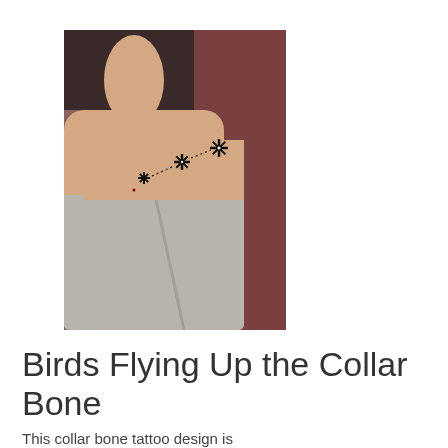[Figure (photo): A photo of a woman's collarbone area showing a tattoo consisting of three star/snowflake shapes connected by dotted lines along the collarbone. She is wearing a light gray off-shoulder top. The background has dark red curtain fabric.]
Birds Flying Up the Collar Bone
This collar bone tattoo design is